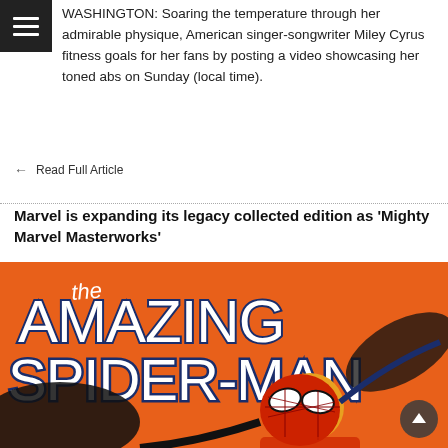WASHINGTON: Soaring the temperature through her admirable physique, American singer-songwriter Miley Cyrus fitness goals for her fans by posting a video showcasing her toned abs on Sunday (local time).
Read Full Article
Marvel is expanding its legacy collected edition as ‘Mighty Marvel Masterworks’
[Figure (illustration): The Amazing Spider-Man comic book cover art showing Spider-Man in red and blue costume against an orange background with large white bold text reading 'the Amazing Spider-Man']